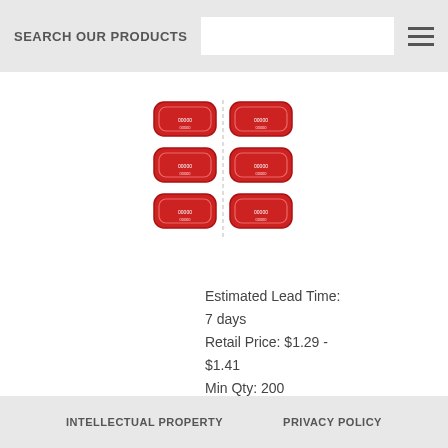SEARCH OUR PRODUCTS
[Figure (photo): Red event/raffle ticket labels arranged in a 2x3 grid pattern on white background]
Estimated Lead Time: 7 days
Retail Price: $1.29 - $1.41
Min Qty: 200
DETAILS
INTELLECTUAL PROPERTY   PRIVACY POLICY